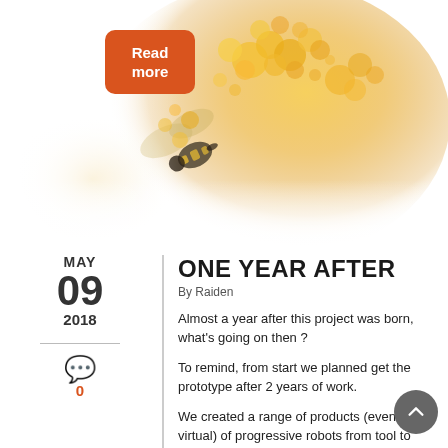[Figure (photo): A close-up photo of a bee on yellow flowers (mimosa/acacia blossoms), fading into white background.]
Read more
MAY
09
2018
ONE YEAR AFTER
By Raiden
Almost a year after this project was born, what's going on then ?
To remind, from start we planned get the prototype after 2 years of work.
We created a range of products (even virtual) of progressive robots from tool to intelligent assistant.
We wanted this project "open", to able to drive a community and create business offers where anyone